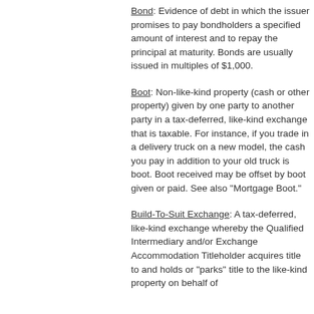Bond: Evidence of debt in which the issuer promises to pay bondholders a specified amount of interest and to repay the principal at maturity. Bonds are usually issued in multiples of $1,000.
Boot: Non-like-kind property (cash or other property) given by one party to another party in a tax-deferred, like-kind exchange that is taxable. For instance, if you trade in a delivery truck on a new model, the cash you pay in addition to your old truck is boot. Boot received may be offset by boot given or paid. See also "Mortgage Boot."
Build-To-Suit Exchange: A tax-deferred, like-kind exchange whereby the Qualified Intermediary and/or Exchange Accommodation Titleholder acquires title to and holds or "parks" title to the like-kind replacement property on behalf of